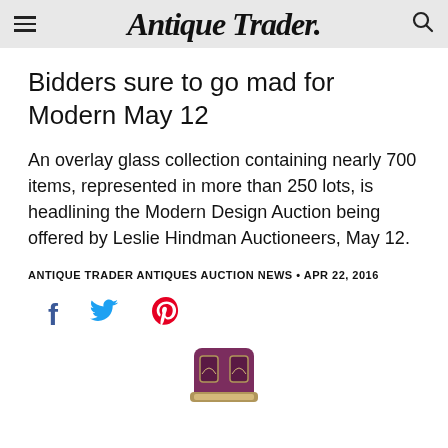Antique Trader
Bidders sure to go mad for Modern May 12
An overlay glass collection containing nearly 700 items, represented in more than 250 lots, is headlining the Modern Design Auction being offered by Leslie Hindman Auctioneers, May 12.
ANTIQUE TRADER ANTIQUES AUCTION NEWS • APR 22, 2016
[Figure (infographic): Social media share icons: Facebook (f), Twitter (bird), Pinterest (P)]
[Figure (photo): Bottom portion of a decorative purple/maroon overlay glass vase with ornate metalwork band visible at base]